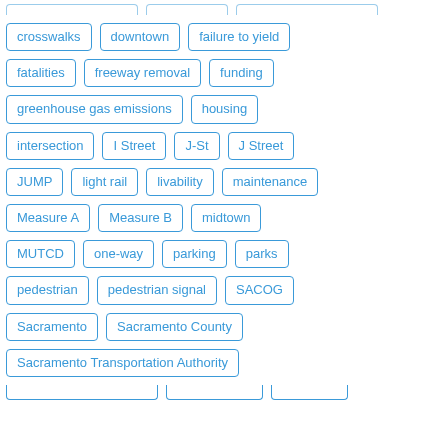crosswalks
downtown
failure to yield
fatalities
freeway removal
funding
greenhouse gas emissions
housing
intersection
I Street
J-St
J Street
JUMP
light rail
livability
maintenance
Measure A
Measure B
midtown
MUTCD
one-way
parking
parks
pedestrian
pedestrian signal
SACOG
Sacramento
Sacramento County
Sacramento Transportation Authority